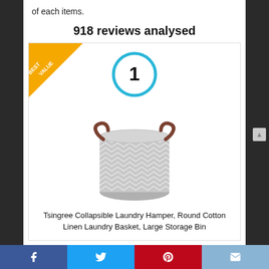of each items.
918 reviews analysed
[Figure (photo): Product card showing a Tsingree Collapsible Laundry Hamper with a 'Best Value' ribbon in the top-left corner, a blue circled number 1 at the top center, and a photo of a round gray herringbone-patterned cotton linen laundry basket with leather handles.]
Tsingree Collapsible Laundry Hamper, Round Cotton Linen Laundry Basket, Large Storage Bin
Facebook | Twitter | Pinterest | Email